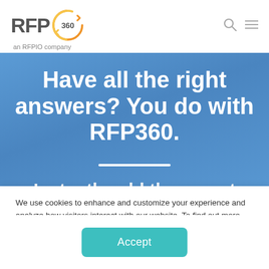[Figure (logo): RFP360 logo with circular orange and gold arrow icon and text 'an RFPIO company']
Have all the right answers? You do with RFP360.
Instantly add the expert
We use cookies to enhance and customize your experience and analyze how visitors interact with our website. To find out more, read our Privacy Policy.
Accept